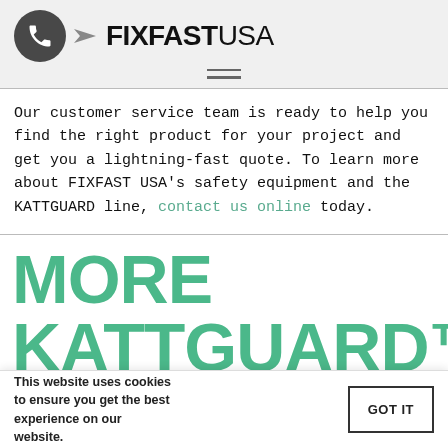FIXFAST USA
Our customer service team is ready to help you find the right product for your project and get you a lightning-fast quote. To learn more about FIXFAST USA’s safety equipment and the KATTGUARD line, contact us online today.
MORE KATTGUARD™
This website uses cookies to ensure you get the best experience on our website.